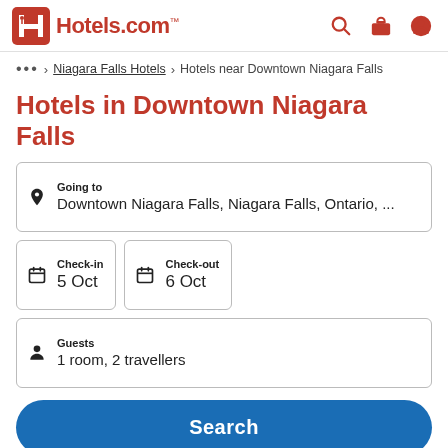[Figure (logo): Hotels.com logo with red H icon and Hotels.com text with trademark symbol, plus search, briefcase, and account icons on the right]
... > Niagara Falls Hotels > Hotels near Downtown Niagara Falls
Hotels in Downtown Niagara Falls
Going to
Downtown Niagara Falls, Niagara Falls, Ontario, ...
Check-in
5 Oct
Check-out
6 Oct
Guests
1 room, 2 travellers
Search